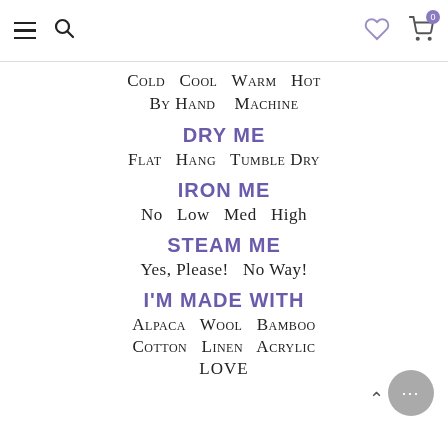Navigation header with hamburger menu, search icon, heart icon, cart icon (badge: 0)
Cold  Cool  Warm  Hot
By Hand    Machine
DRY ME
Flat  Hang  Tumble Dry
IRON ME
No  Low  Med  High
STEAM ME
Yes, Please!  No Way!
I'M MADE WITH
Alpaca  Wool  Bamboo
Cotton  Linen  Acrylic
LOVE